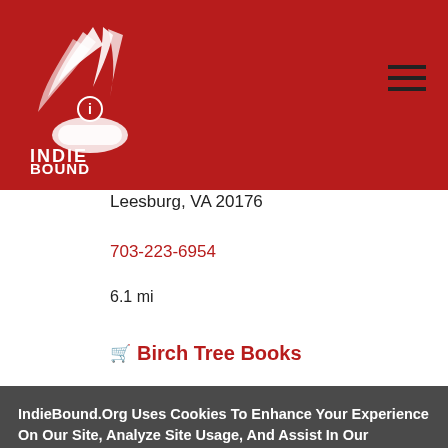[Figure (logo): IndieBound logo — white illustration of hands holding a book with text INDIE BOUND below, on red background]
Leesburg, VA 20176
703-223-6954
6.1 mi
Birch Tree Books
26 N King St.
IndieBound.Org Uses Cookies To Enhance Your Experience On Our Site, Analyze Site Usage, And Assist In Our Marketing Efforts. By Clicking Accept, You Agree To The Storing Of Cookies On Your Device. View Our Cookie Policy.
Give me more info
Accept all Cookies